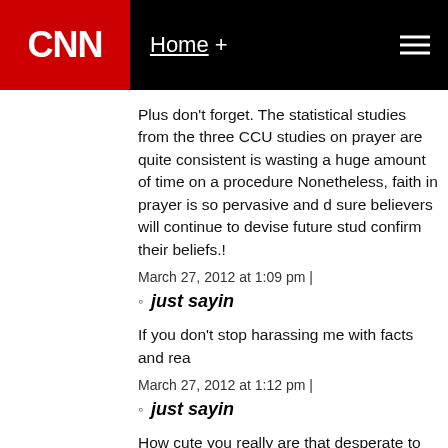CNN | Home +
Plus don't forget. The statistical studies from the three CCU studies on prayer are quite consistent is wasting a huge amount of time on a procedure Nonetheless, faith in prayer is so pervasive and d sure believers will continue to devise future stud confirm their beliefs.!
March 27, 2012 at 1:09 pm |
just sayin
If you don't stop harassing me with facts and rea
March 27, 2012 at 1:12 pm |
just sayin
How cute you really are that desperate to be me
March 27, 2012 at 1:47 pm |
just sayin